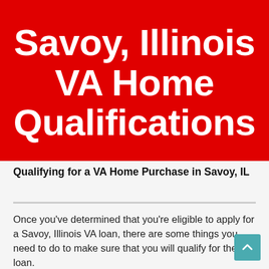Savoy, Illinois VA Home Qualifications
Qualifying for a VA Home Purchase in Savoy, IL
Once you've determined that you're eligible to apply for a Savoy, Illinois VA loan, there are some things you need to do to make sure that you will qualify for the loan.